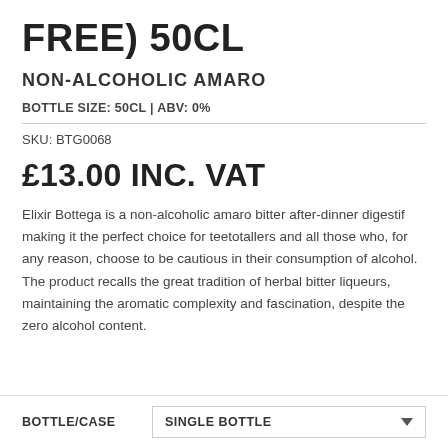FREE) 50CL
NON-ALCOHOLIC AMARO
BOTTLE SIZE: 50CL | ABV: 0%
SKU: BTG0068
£13.00 INC. VAT
Elixir Bottega is a non-alcoholic amaro bitter after-dinner digestif making it the perfect choice for teetotallers and all those who, for any reason, choose to be cautious in their consumption of alcohol. The product recalls the great tradition of herbal bitter liqueurs, maintaining the aromatic complexity and fascination, despite the zero alcohol content.
BOTTLE/CASE   SINGLE BOTTLE